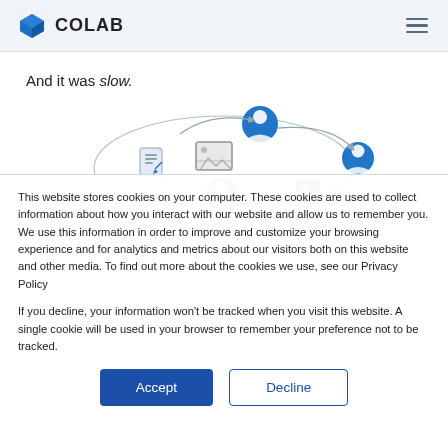COLAB
And it was slow.
[Figure (infographic): Circular workflow diagram showing person icons connected by arrows in a loop, with a document icon, image placeholder icon, and Excel icon in the center]
This website stores cookies on your computer. These cookies are used to collect information about how you interact with our website and allow us to remember you. We use this information in order to improve and customize your browsing experience and for analytics and metrics about our visitors both on this website and other media. To find out more about the cookies we use, see our Privacy Policy
If you decline, your information won't be tracked when you visit this website. A single cookie will be used in your browser to remember your preference not to be tracked.